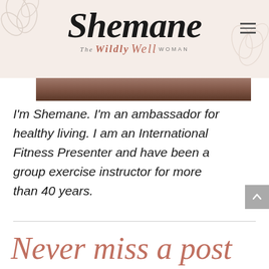Shemane — The Wildly Well Woman
[Figure (photo): Partial photo strip showing a person, cropped at the top]
I'm Shemane. I'm an ambassador for healthy living. I am an International Fitness Presenter and have been a group exercise instructor for more than 40 years.
Never miss a post